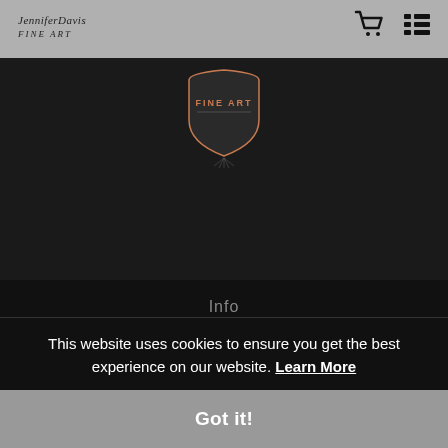JenniferDavis Fine Art — navigation bar with logo, cart icon, menu icon
[Figure (logo): Badge/emblem with text FINE ART in orange/copper color, shield-like shape with rays below, dark background]
Info
© Copyright 2022
All Rights Reserved
This website uses cookies to ensure you get the best experience on our website. Learn More
Got it!